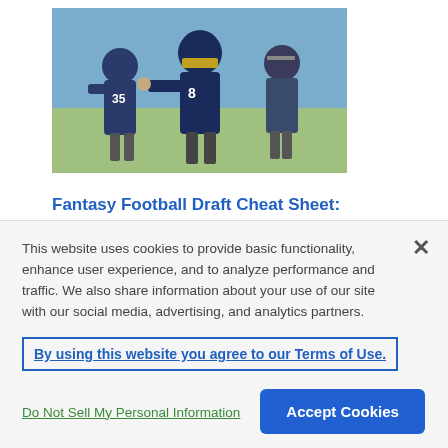[Figure (photo): Football players in blue uniforms (New York Giants practice) running on a field. Player #35 visible on the left, player #8 in center foreground, coach in background.]
Fantasy Football Draft Cheat Sheet: Sleepers, Busts & Round-by-Round Advice (2022)
This website uses cookies to provide basic functionality, enhance user experience, and to analyze performance and traffic. We also share information about your use of our site with our social media, advertising, and analytics partners.
By using this website you agree to our Terms of Use.
Do Not Sell My Personal Information
Accept Cookies